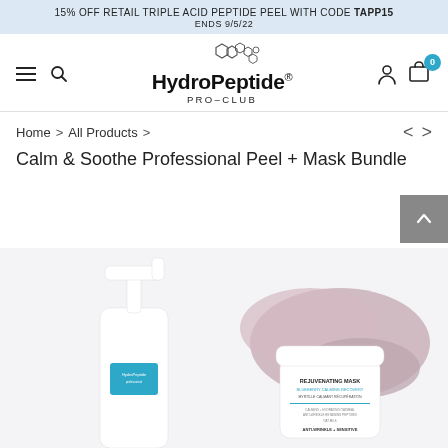15% OFF RETAIL TRIPLE ACID PEPTIDE PEEL WITH CODE TAPP15 ENDS 9/5/22
[Figure (logo): HydroPeptide PRO-CLUB logo with hexagon molecular structure graphic above text]
Home > All Products >
Calm & Soothe Professional Peel + Mask Bundle
[Figure (photo): Two skincare products: a white pump bottle with HydroPeptide label and teal accent, and a white jar labeled REJUVENATING MASK BLUEBERRY CALMING RECOVERY, with a mauve/pink cream swatch behind the jar, on a light background]